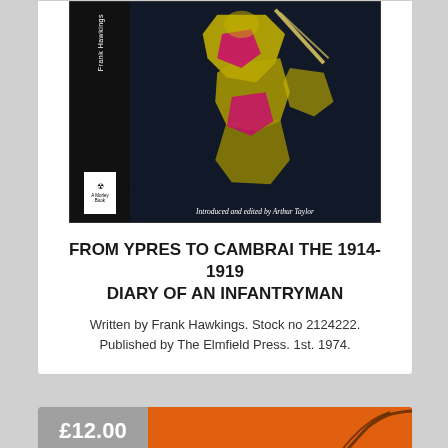[Figure (photo): Photograph of a hardcover book 'From Ypres to Cambrai' by Frank Hawkings, introduced and edited by Arthur Taylor, published by The Elmfield Press 1974. Dark cover with graphic artwork of a soldier figure in yellow and pink/magenta on black background. Book spine visible on left showing author name and publisher logo.]
FROM YPRES TO CAMBRAI THE 1914-1919 DIARY OF AN INFANTRYMAN
Written by Frank Hawkings. Stock no 2124222. Published by The Elmfield Press. 1st. 1974.
£12.00